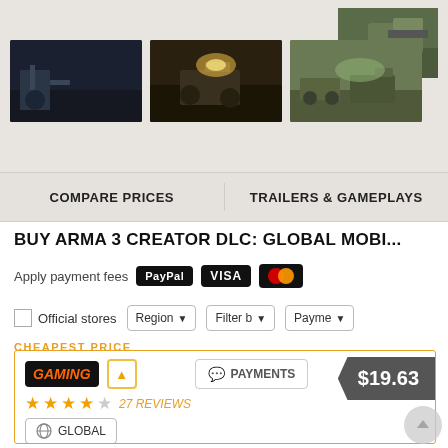[Figure (screenshot): Small game screenshot thumbnail in top right, showing military vehicle outdoors]
[Figure (screenshot): Three game screenshot thumbnails in a row: soldiers in dark scene, tank with explosion, military vehicles outdoors]
COMPARE PRICES
TRAILERS & GAMEPLAYS
BUY ARMA 3 CREATOR DLC: GLOBAL MOBI...
Apply payment fees
Official stores
Region
Filter b
Payme
CHEAPEST PRICE
PAYMENTS
$19.63
27 REVIEWS
GLOBAL